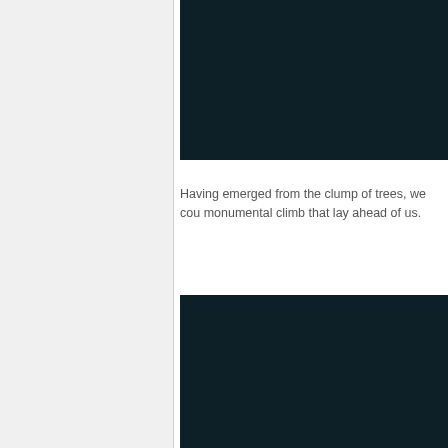[Figure (photo): Dark photograph, top image, dark teal/navy background, contents obscured]
Having emerged from the clump of trees, we cou monumental climb that lay ahead of us.
[Figure (photo): Dark photograph, bottom image, dark teal/navy background, contents obscured]